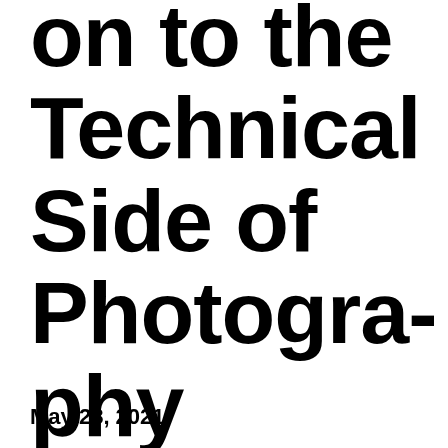on to the Technical Side of Photography
May 28, 2021